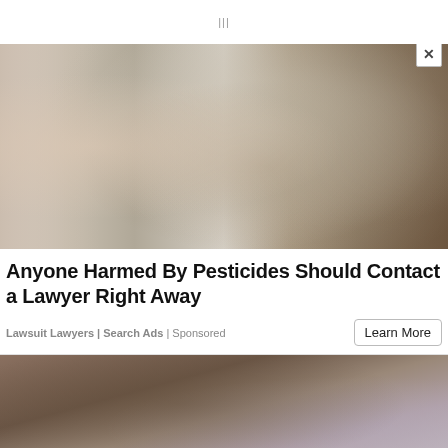|||
[Figure (photo): Person spraying pesticide on bare winter trees with a wand sprayer, mist visible in the air]
Anyone Harmed By Pesticides Should Contact a Lawyer Right Away
Lawsuit Lawyers | Search Ads | Sponsored
[Figure (photo): Close-up of a person with brown hair, partially visible, blurred background with blue tones]